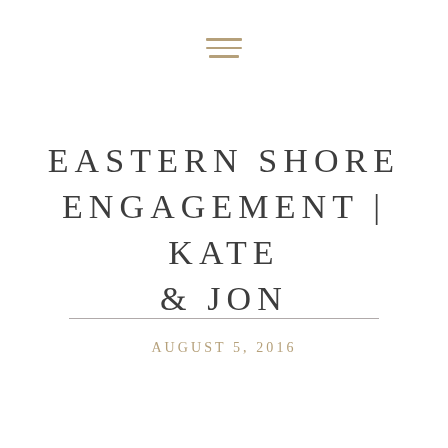[Figure (illustration): Three horizontal lines forming a hamburger menu icon, colored in tan/gold]
EASTERN SHORE ENGAGEMENT | KATE & JON
AUGUST 5, 2016